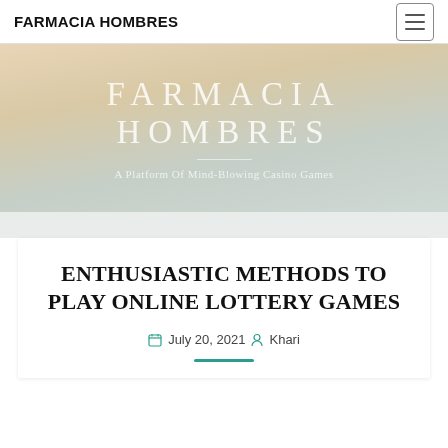FARMACIA HOMBRES
FARMACIA HOMBRES
A Platform Of Mind-Blowing Casino Games
ENTHUSIASTIC METHODS TO PLAY ONLINE LOTTERY GAMES
July 20, 2021  Khari